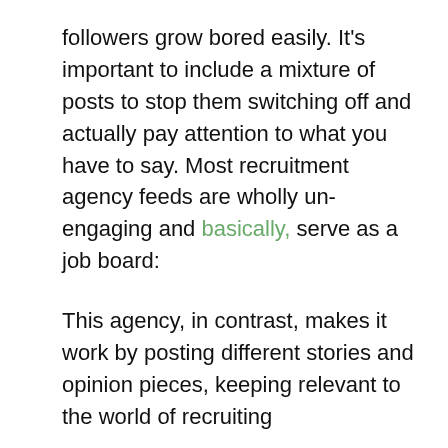followers grow bored easily. It's important to include a mixture of posts to stop them switching off and actually pay attention to what you have to say. Most recruitment agency feeds are wholly un-engaging and basically, serve as a job board:
This agency, in contrast, makes it work by posting different stories and opinion pieces, keeping relevant to the world of recruiting